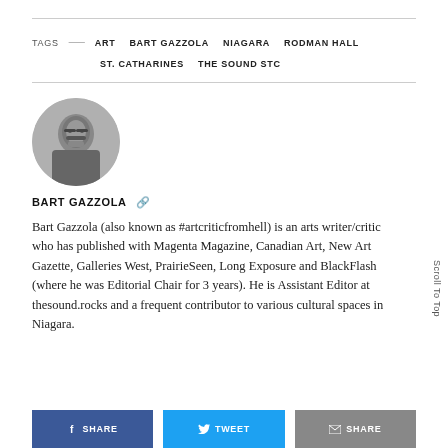TAGS — ART  BART GAZZOLA  NIAGARA  RODMAN HALL  ST. CATHARINES  THE SOUND STC
[Figure (photo): Circular black and white portrait photo of Bart Gazzola, a man with glasses and facial hair wearing a jacket]
BART GAZZOLA
Bart Gazzola (also known as #artcriticfromhell) is an arts writer/critic who has published with Magenta Magazine, Canadian Art, New Art Gazette, Galleries West, PrairieSeen, Long Exposure and BlackFlash (where he was Editorial Chair for 3 years). He is Assistant Editor at thesound.rocks and a frequent contributor to various cultural spaces in Niagara.